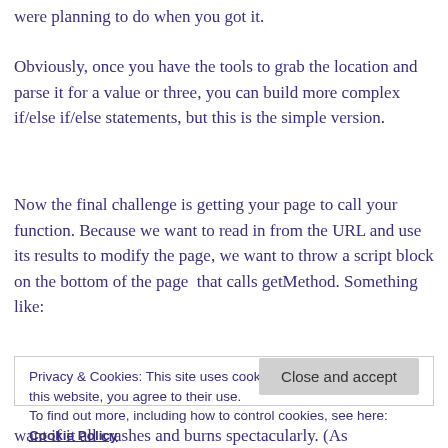were planning to do when you got it.
Obviously, once you have the tools to grab the location and parse it for a value or three, you can build more complex if/else if/else statements, but this is the simple version.
Now the final challenge is getting your page to call your function. Because we want to read in from the URL and use its results to modify the page, we want to throw a script block on the bottom of the page that calls getMethod. Something like:
Privacy & Cookies: This site uses cookies. By continuing to use this website, you agree to their use.
To find out more, including how to control cookies, see here: Cookie Policy
want if it all crashes and burns spectacularly. (As